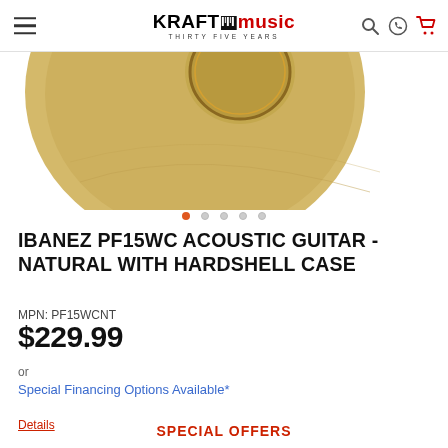Kraft Music - Thirty Five Years
[Figure (photo): Partial view of an acoustic guitar body, natural wood color, showing the lower bout and soundhole area against a white background]
IBANEZ PF15WC ACOUSTIC GUITAR - NATURAL WITH HARDSHELL CASE
MPN: PF15WCNT
$229.99
or
Special Financing Options Available*
Details
SPECIAL OFFERS